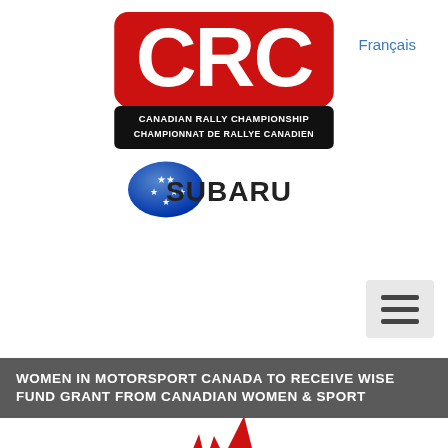Français
[Figure (logo): CRC Canadian Rally Championship / Championnat de Rallye Canadien logo with red CRC letters and black banner]
[Figure (logo): Subaru logo with blue oval star emblem and SUBARU text]
[Figure (other): Hamburger menu icon (three horizontal lines) on light grey background]
WOMEN IN MOTORSPORT CANADA TO RECEIVE WISE FUND GRANT FROM CANADIAN WOMEN & SPORT
[Figure (illustration): Partial red logo or figure visible at bottom of page, cropped]